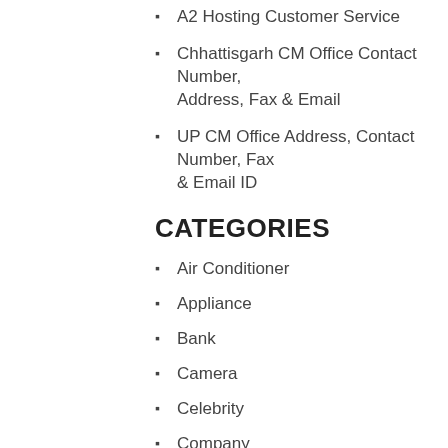A2 Hosting Customer Service
Chhattisgarh CM Office Contact Number, Address, Fax & Email
UP CM Office Address, Contact Number, Fax & Email ID
CATEGORIES
Air Conditioner
Appliance
Bank
Camera
Celebrity
Company
Computers
Consumer
Courier
Education
Finance